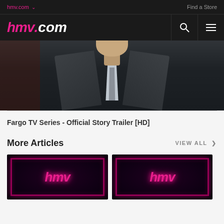hmv.com  Find a Store
[Figure (logo): hmv.com logo in pink and white on dark navigation bar with search and menu icons]
[Figure (screenshot): Video thumbnail showing a man in a dark suit with white shirt and tie, close-up face and torso, still from Fargo TV Series trailer]
Fargo TV Series - Official Story Trailer [HD]
More Articles
VIEW ALL >
[Figure (photo): HMV neon sign glowing pink on dark background]
[Figure (photo): HMV neon sign glowing pink on dark background]